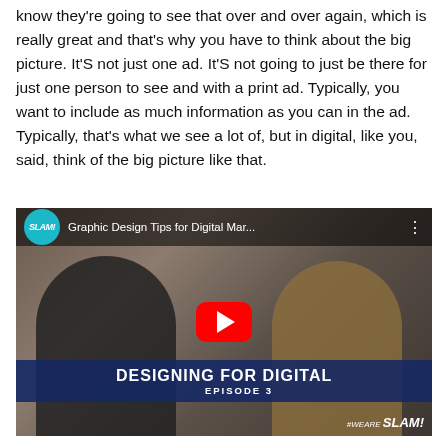know they're going to see that over and over again, which is really great and that's why you have to think about the big picture. It'S not just one ad. It'S not going to just be there for just one person to see and with a print ad. Typically, you want to include as much information as you can in the ad. Typically, that's what we see a lot of, but in digital, like you, said, think of the big picture like that.
[Figure (screenshot): YouTube video thumbnail for 'Graphic Design Tips for Digital Mar...' from SLAM! channel, showing episode 3 of 'Designing for Digital' podcast with two people at microphones, a red YouTube play button in the center, and the SLAM! logo in the bottom right corner.]